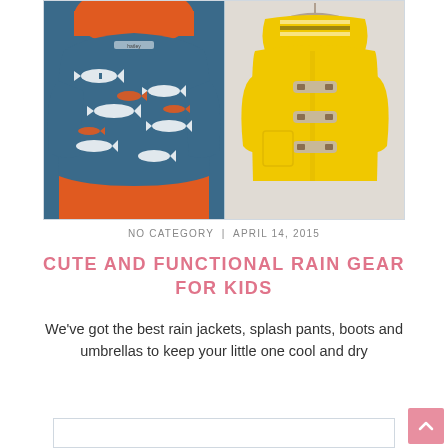[Figure (photo): Two children's rain jackets side by side. Left: a navy/teal hoodie jacket with white shark and orange fish print and orange lining. Right: a yellow toggle-button rain jacket on a hanger with striped hood lining.]
NO CATEGORY | APRIL 14, 2015
CUTE AND FUNCTIONAL RAIN GEAR FOR KIDS
We've got the best rain jackets, splash pants, boots and umbrellas to keep your little one cool and dry